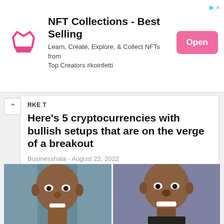[Figure (infographic): NFT Collections advertisement banner with pink crown logo, title 'NFT Collections - Best Selling', subtitle 'Learn, Create, Explore, & Collect NFTs from Top Creators #koinfetti', and a pink 'Open' button]
RKET
Here’s 5 cryptocurrencies with bullish setups that are on the verge of a breakout
Businesshala - August 22, 2022
[Figure (photo): Two side-by-side photos of a smiling man — left photo with blue/grey background, right photo with purple/grey background]